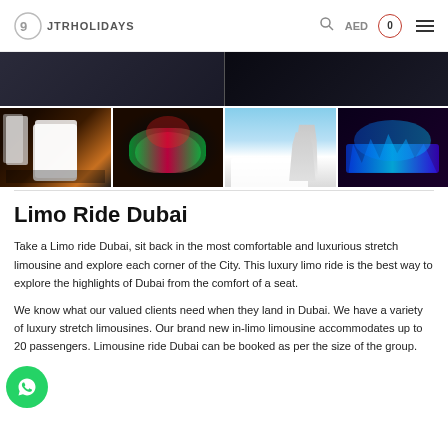JTR HOLIDAYS  AED  0
[Figure (photo): Gallery strip showing 4 thumbnail photos of a limousine: exterior night shot with neon lights, interior with colorful LED lighting, exterior near Burj Al Arab, interior with blue LED lights]
Limo Ride Dubai
Take a Limo ride Dubai, sit back in the most comfortable and luxurious stretch limousine and explore each corner of the City. This luxury limo ride is the best way to explore the highlights of Dubai from the comfort of a seat.
We know what our valued clients need when they land in Dubai. We have a variety of luxury stretch limousines. Our brand new in-limo limousine accommodates up to 20 passengers. Limousine ride Dubai can be booked as per the size of the group.